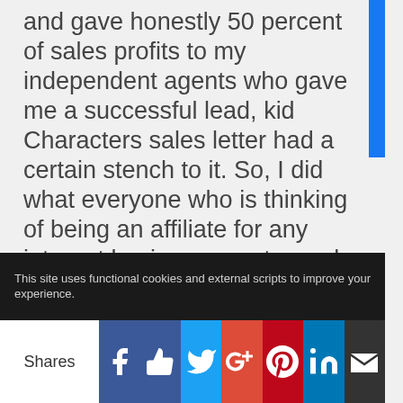and gave honestly 50 percent of sales profits to my independent agents who gave me a successful lead, kid Characters sales letter had a certain stench to it. So, I did what everyone who is thinking of being an affiliate for any internet business was to read the complaint's found online about them, check the BBB and all sources, I did that and not to my surprise completely agree with you that they are a scam family company and many of their family will in the future do some jail time. the quicker the better that they are shut down. I've done my part by notifying thousands via my FB page. I encourage all to make them the household
This site uses functional cookies and external scripts to improve your experience.
Shares